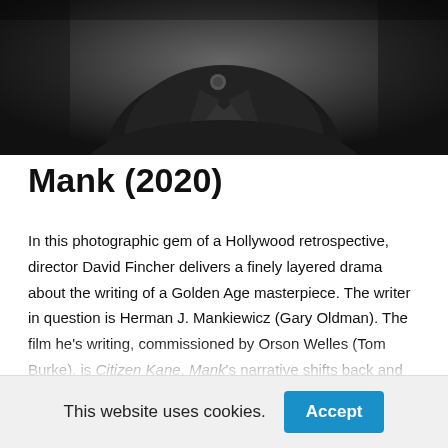[Figure (photo): Black and white photograph of a person wearing a coat with a decorative brooch, cropped at the top of the page]
Mank (2020)
In this photographic gem of a Hollywood retrospective, director David Fincher delivers a finely layered drama about the writing of a Golden Age masterpiece. The writer in question is Herman J. Mankiewicz (Gary Oldman). The film he's writing, commissioned by Orson Welles (Tom Burke), is Citizen Kane. Mank's narrative shifts back and forth from the 1930s to the 1940s, chronicling the turbulent life of its title character throughout his development of the screenplay. Mank was written by the late Jack Fincher, the
This website uses cookies.
Accept